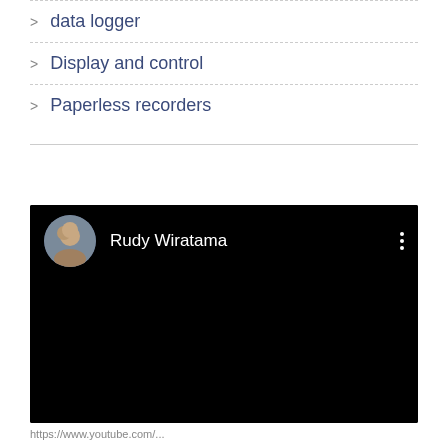data logger
Display and control
Paperless recorders
[Figure (screenshot): Embedded video player with black background showing channel header. Channel name 'Rudy Wiratama' with circular avatar photo on left and three-dot menu icon on right, all on black background.]
https://www.youtube.com/...